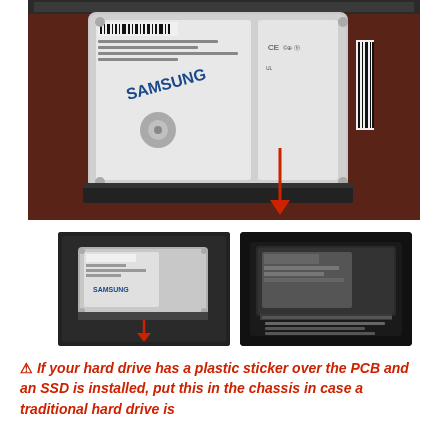[Figure (photo): Large photo of a Samsung 2.5-inch hard drive removed from a laptop, placed on a dark red surface. A red arrow points downward toward the connector end of the drive.]
[Figure (photo): Small photo showing a hard drive being inserted into a laptop chassis bay, with a red arrow pointing downward.]
[Figure (photo): Small photo showing a dark close-up of a hard drive PCB with label text visible.]
⚠ If your hard drive has a plastic sticker over the PCB and an SSD is installed, put this in the chassis in case a traditional hard drive is